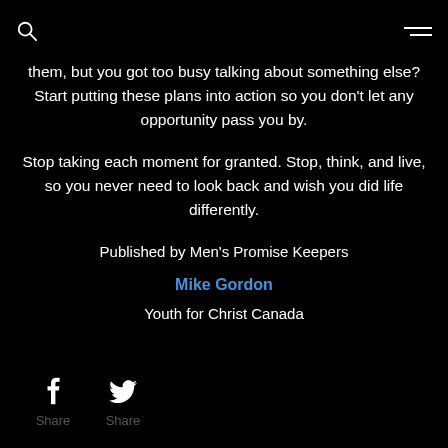[search icon] [menu icon]
them, but you got too busy talking about something else? Start putting these plans into action so you don't let any opportunity pass you by.
Stop taking each moment for granted. Stop, think, and live, so you never need to look back and wish you did life differently.
Published by Men's Promise Keepers
Mike Gordon
Youth for Christ Canada
Share  Share